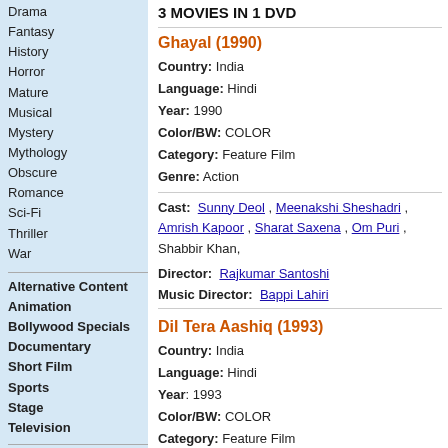Drama
Fantasy
History
Horror
Mature
Musical
Mystery
Mythology
Obscure
Romance
Sci-Fi
Thriller
War
Alternative Content
Animation
Bollywood Specials
Documentary
Short Film
Sports
Stage
Television
Assamese
Bengali
Bhojpuri
English
Marathi
3 MOVIES IN 1 DVD
Ghayal (1990)
Country: India
Language: Hindi
Year: 1990
Color/BW: COLOR
Category: Feature Film
Genre: Action
Cast: Sunny Deol, Meenakshi Sheshadri, Amrish Kapoor, Sharat Saxena, Om Puri, Shabbir Khan,
Director: Rajkumar Santoshi
Music Director: Bappi Lahiri
Dil Tera Aashiq (1993)
Country: India
Language: Hindi
Year: 1993
Color/BW: COLOR
Category: Feature Film
Genre: Action, Drama, Romance
Cast: Salman Khan, Madhuri Dixit, Kader Khan, Mumtaz, Yunus Parvez, Guddi Maruti, Razak Kha